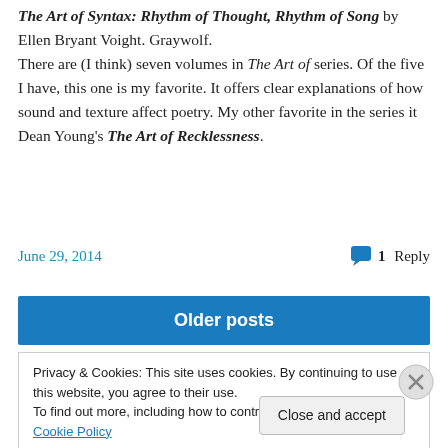The Art of Syntax: Rhythm of Thought, Rhythm of Song by Ellen Bryant Voight. Graywolf. There are (I think) seven volumes in The Art of series. Of the five I have, this one is my favorite. It offers clear explanations of how sound and texture affect poetry. My other favorite in the series it Dean Young's The Art of Recklessness.
June 29, 2014   1 Reply
Older posts
Privacy & Cookies: This site uses cookies. By continuing to use this website, you agree to their use. To find out more, including how to control cookies, see here: Cookie Policy
Close and accept